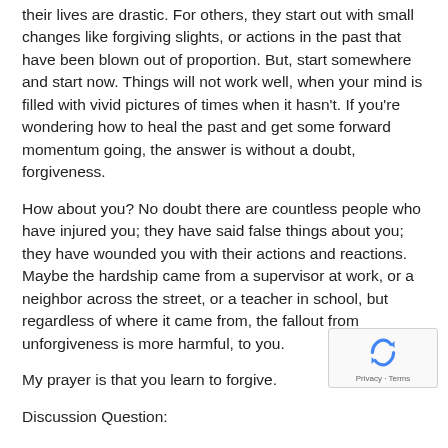their lives are drastic. For others, they start out with small changes like forgiving slights, or actions in the past that have been blown out of proportion. But, start somewhere and start now. Things will not work well, when your mind is filled with vivid pictures of times when it hasn't. If you're wondering how to heal the past and get some forward momentum going, the answer is without a doubt, forgiveness.
How about you? No doubt there are countless people who have injured you; they have said false things about you; they have wounded you with their actions and reactions. Maybe the hardship came from a supervisor at work, or a neighbor across the street, or a teacher in school, but regardless of where it came from, the fallout from unforgiveness is more harmful, to you.
My prayer is that you learn to forgive.
Discussion Question: